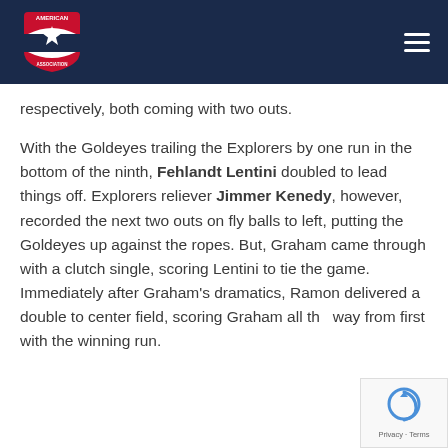American Association (logo and navigation)
respectively, both coming with two outs.
With the Goldeyes trailing the Explorers by one run in the bottom of the ninth, Fehlandt Lentini doubled to lead things off. Explorers reliever Jimmer Kenedy, however, recorded the next two outs on fly balls to left, putting the Goldeyes up against the ropes. But, Graham came through with a clutch single, scoring Lentini to tie the game. Immediately after Graham's dramatics, Ramon delivered a double to center field, scoring Graham all the way from first with the winning run.